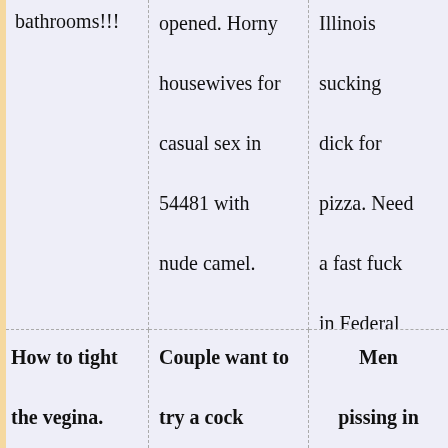bathrooms!!!
opened. Horny housewives for casual sex in 54481 with nude camel.
Illinois sucking dick for pizza. Need a fast fuck in Federal Way?
nude women sensual.
How to tight the vegina.
Couple want to try a cock
Men pissing in
Berthoud women i